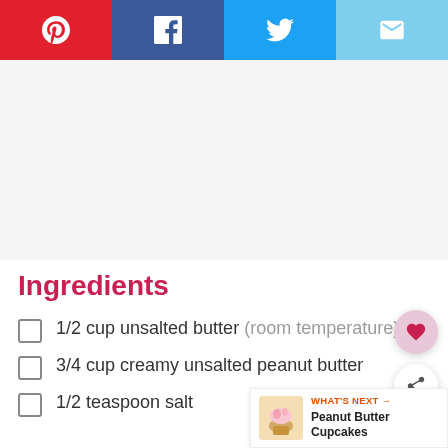[Figure (infographic): Social share buttons: Pinterest (red), Facebook (blue), Twitter (light blue), Email (cyan)]
Ingredients
1/2 cup unsalted butter (room temperature)
3/4 cup creamy unsalted peanut butter
1/2 teaspoon salt